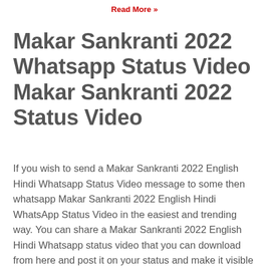Read More »
Makar Sankranti 2022 Whatsapp Status Video Makar Sankranti 2022 Status Video
If you wish to send a Makar Sankranti 2022 English Hindi Whatsapp Status Video message to some then whatsapp Makar Sankranti 2022 English Hindi WhatsApp Status Video in the easiest and trending way. You can share a Makar Sankranti 2022 English Hindi Whatsapp status video that you can download from here and post it on your status and make it visible to your friends and family and easily say your Makar Sankranti 2022 English Hindi status in form of a status video.